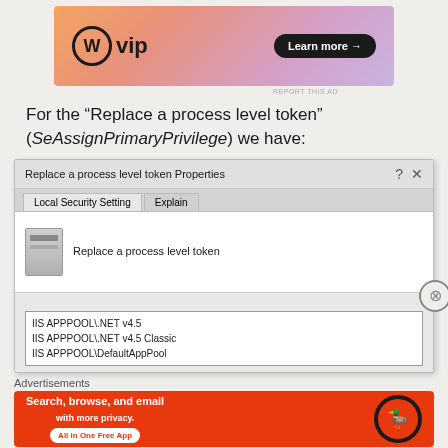[Figure (screenshot): WordPress VIP banner ad with gradient background, WP logo, and 'Learn more →' button]
For the “Replace a process level token” (SeAssignPrimaryPrivilege) we have:
[Figure (screenshot): Windows dialog: Replace a process level token Properties. Shows Local Security Setting and Explain tabs, server icon with label 'Replace a process level token', and a list box with IIS APPPOOL\.NET v4.5, IIS APPPOOL\.NET v4.5 Classic, IIS APPPOOL\DefaultAppPool]
Advertisements
[Figure (screenshot): DuckDuckGo advertisement: orange background, text 'Search, browse, and email with more privacy. All in One Free App', DuckDuckGo logo on dark circle]